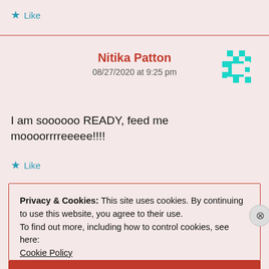★ Like
Nitika Patton
08/27/2020 at 9:25 pm
[Figure (illustration): Teal/cyan decorative avatar icon with geometric pixel-art pattern]
I am soooooo READY, feed me moooorrrreeeee!!!!
★ Like
Privacy & Cookies: This site uses cookies. By continuing to use this website, you agree to their use.
To find out more, including how to control cookies, see here:
Cookie Policy
Close and accept